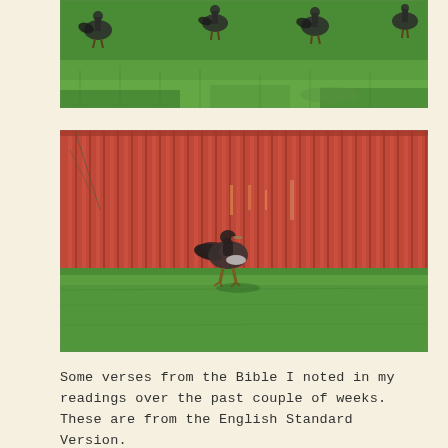[Figure (photo): Photo of wild turkeys on a green grass field, cropped showing lower portion with birds visible at top]
[Figure (photo): Photo of a single wild turkey standing on green grass in front of a red corrugated metal fence/barn wall]
Some verses from the Bible I noted in my readings over the past couple of weeks. These are from the English Standard Version.